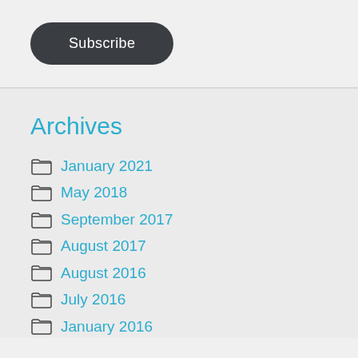[Figure (other): Dark rounded rectangle Subscribe button]
Archives
January 2021
May 2018
September 2017
August 2017
August 2016
July 2016
January 2016